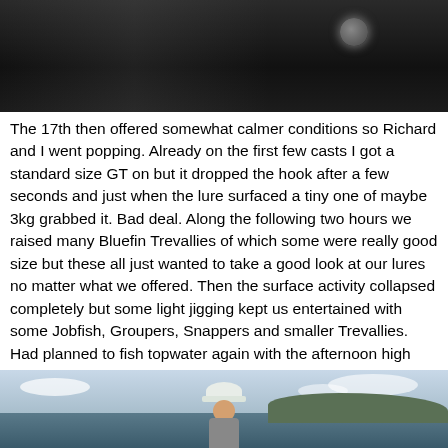[Figure (photo): Close-up dark photo, likely of a fish, dark background with a rounded reflective object visible]
The 17th then offered somewhat calmer conditions so Richard and I went popping. Already on the first few casts I got a standard size GT on but it dropped the hook after a few seconds and just when the lure surfaced a tiny one of maybe 3kg grabbed it. Bad deal. Along the following two hours we raised many Bluefin Trevallies of which some were really good size but these all just wanted to take a good look at our lures no matter what we offered. Then the surface activity collapsed completely but some light jigging kept us entertained with some Jobfish, Groupers, Snappers and smaller Trevallies. Had planned to fish topwater again with the afternoon high tide but meanwhile the wind had picked up to around 15 knots again spoiling that. Still Richard within the few casts we made managed to pick up this small GT.
[Figure (photo): Person holding a fish on a boat with sea and sky in background, wearing a white cap]